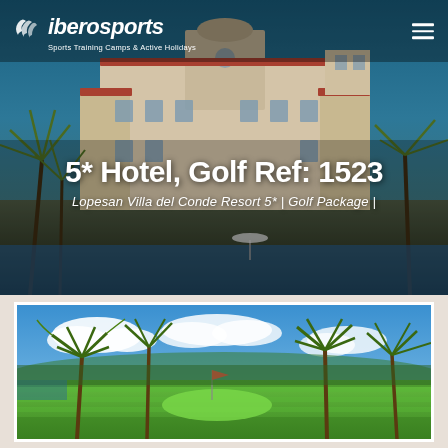iberosports — Sports Training Camps & Active Holidays
5* Hotel, Golf Ref: 1523
Lopesan Villa del Conde Resort 5* | Golf Package |
[Figure (photo): Golf course photo showing lush green fairway with palm trees, blue sky with white clouds, tropical resort setting]